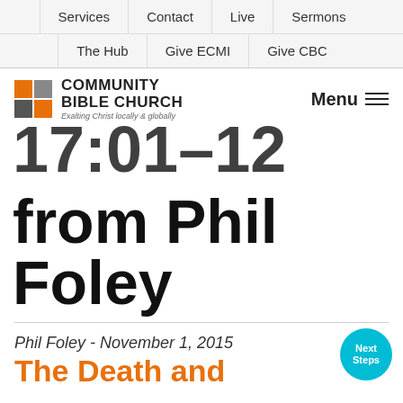Services | Contact | Live | Sermons | The Hub | Give ECMI | Give CBC
[Figure (logo): Community Bible Church logo with orange and gray squares, text: COMMUNITY BIBLE CHURCH, Exalting Christ locally & globally]
from Phil Foley
Phil Foley - November 1, 2015
The Death and